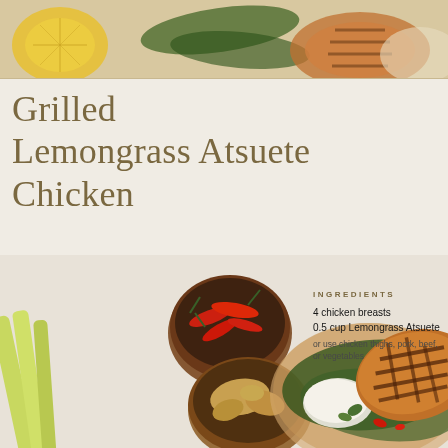[Figure (photo): Top banner photo showing grilled food items, pineapple slice, banana leaves, and plated chicken dishes]
Grilled Lemongrass Atsuete Chicken
INGREDIENTS
4 chicken breasts
0.5 cup Lemongrass Atsuete
or use chicken thighs, pork, beef, or vegetables
[Figure (photo): Food photography showing lemongrass stalks, bowl of red chilies, bowl of ginger root, grilled chicken breast on plate with rice and banana leaves]